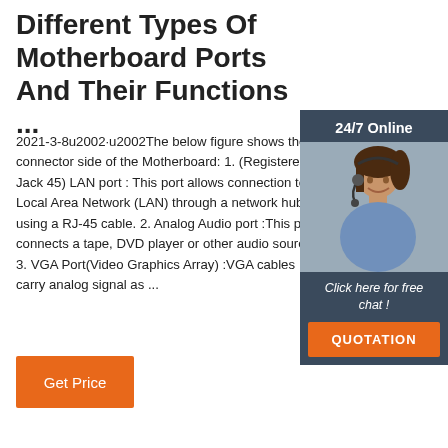Different Types Of Motherboard Ports And Their Functions ...
2021-3-8u2002·u2002The below figure shows the connector side of the Motherboard: 1. (Registered Jack 45) LAN port : This port allows connection to a Local Area Network (LAN) through a network hub using a RJ-45 cable. 2. Analog Audio port :This port connects a tape, DVD player or other audio soures. 3. VGA Port(Video Graphics Array) :VGA cables carry analog signal as ...
[Figure (photo): Chat widget with a woman wearing a headset, '24/7 Online' header, 'Click here for free chat!' text, and QUOTATION button]
Get Price